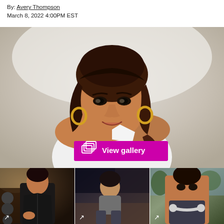By: Avery Thompson
March 8, 2022 4:00PM EST
[Figure (photo): Portrait photo of a woman with dark wavy hair, wearing a white one-shoulder top and gold hoop earrings, against a light background. A magenta 'View gallery' button overlay is shown near the bottom center of the image.]
[Figure (photo): Three thumbnail photos in a row: left shows a man in a black jacket in a gym setting with weights; center shows a man sitting casually in a modern interior space; right shows a young man with headphones around his neck outdoors.]